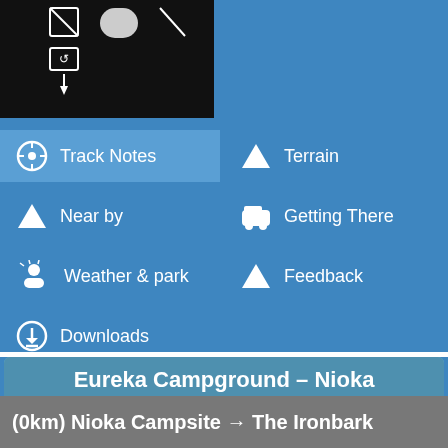[Figure (screenshot): App screenshot showing map/track interface, black background with white icons]
Track Notes
Terrain
Near by
Getting There
Weather & park
Feedback
Downloads
Eureka Campground – Nioka
The Nioka campground offers 20 sites to choose from. There is tap water at the park entrance.
(0km) Nioka Campsite → The Ironbark